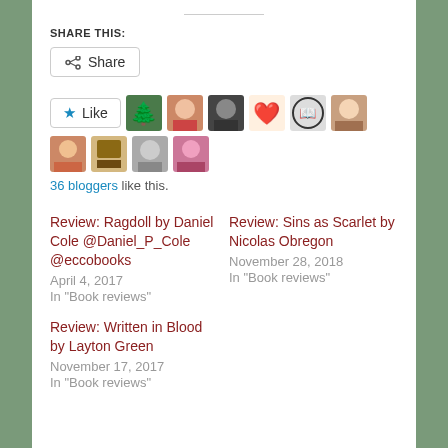SHARE THIS:
[Figure (other): Share button with share icon]
[Figure (other): Like button with star icon and a row of 10 blogger avatar thumbnails]
36 bloggers like this.
Review: Ragdoll by Daniel Cole @Daniel_P_Cole @eccobooks
April 4, 2017
In "Book reviews"
Review: Sins as Scarlet by Nicolas Obregon
November 28, 2018
In "Book reviews"
Review: Written in Blood by Layton Green
November 17, 2017
In "Book reviews"